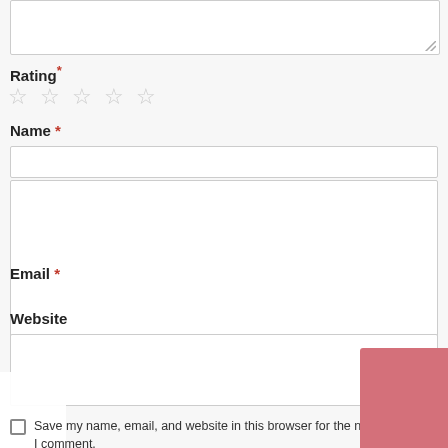[Figure (screenshot): Top portion of a web form showing a textarea (partially visible at top), Rating field with 5 empty star icons, Name field with text input, Email field label with required marker, form navigation arrows (left/right), Website label with text input, a checkbox with label 'Save my name, email, and website in this browser for the next time I comment.', and a pink/red button partially visible at bottom right.]